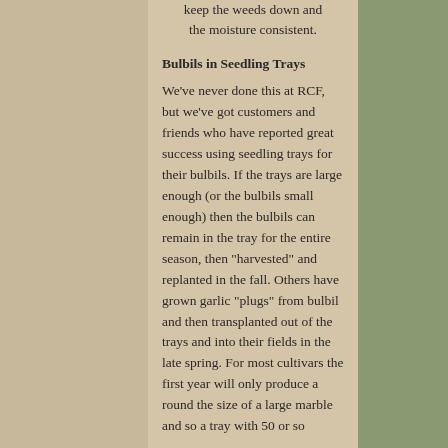keep the weeds down and the moisture consistent.
Bulbils in Seedling Trays
We've never done this at RCF, but we've got customers and friends who have reported great success using seedling trays for their bulbils. If the trays are large enough (or the bulbils small enough) then the bulbils can remain in the tray for the entire season, then "harvested" and replanted in the fall. Others have grown garlic "plugs" from bulbil and then transplanted out of the trays and into their fields in the late spring. For most cultivars the first year will only produce a round the size of a large marble and so a tray with 50 or so